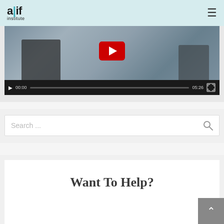alif institute
[Figure (screenshot): Video player showing two musicians in a studio with a YouTube play button overlay. Controls bar shows 00:00 / 05:26 with progress bar.]
Search ...
Want To Help?